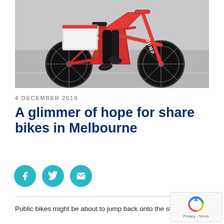[Figure (photo): Person riding a red JUMP brand electric share bike, photographed from the side showing the lower body and the distinctive red bike frame with JUMP branding on the fork.]
4 DECEMBER 2019
A glimmer of hope for share bikes in Melbourne
[Figure (infographic): Social sharing buttons: Facebook, Twitter, and Email icons in teal/cyan circles.]
Public bikes might be about to jump back onto the streets, with